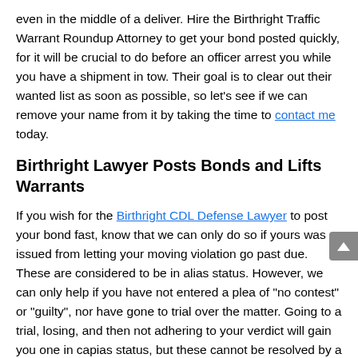even in the middle of a deliver. Hire the Birthright Traffic Warrant Roundup Attorney to get your bond posted quickly, for it will be crucial to do before an officer arrest you while you have a shipment in tow. Their goal is to clear out their wanted list as soon as possible, so let's see if we can remove your name from it by taking the time to contact me today.
Birthright Lawyer Posts Bonds and Lifts Warrants
If you wish for the Birthright CDL Defense Lawyer to post your bond fast, know that we can only do so if yours was issued from letting your moving violation go past due. These are considered to be in alias status. However, we can only help if you have not entered a plea of "no contest" or "guilty", nor have gone to trial over the matter. Going to a trial, losing, and then not adhering to your verdict will gain you one in capias status, but these cannot be resolved by a law office. In such situations, you must either adhere to your verdict or else go to jail for a specified amount of time in order to resolve it. To see if we can help you, contact me